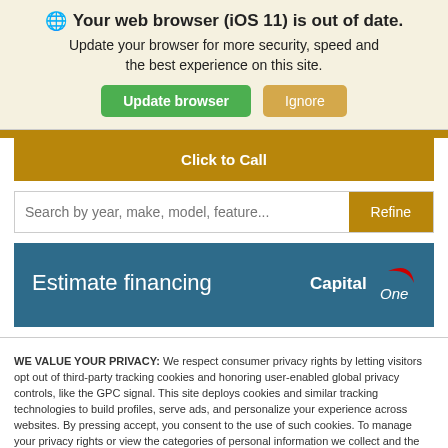Your web browser (iOS 11) is out of date.
Update your browser for more security, speed and the best experience on this site.
Update browser | Ignore
Click to Call
Search by year, make, model, feature...
Refine
Estimate financing
[Figure (logo): Capital One logo in white on blue background]
WE VALUE YOUR PRIVACY: We respect consumer privacy rights by letting visitors opt out of third-party tracking cookies and honoring user-enabled global privacy controls, like the GPC signal. This site deploys cookies and similar tracking technologies to build profiles, serve ads, and personalize your experience across websites. By pressing accept, you consent to the use of such cookies. To manage your privacy rights or view the categories of personal information we collect and the purposes for which the information is used, click here.
Language: English
Powered by ComplyAuto
Accept and Continue →
Privacy Policy